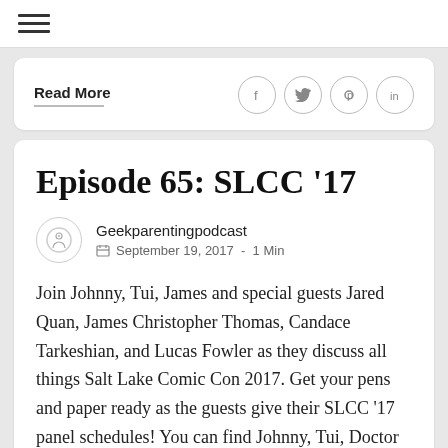≡ (hamburger menu)
Read More
Episode 65: SLCC '17
Geekparentingpodcast
September 19, 2017  -  1 Min
Join Johnny, Tui, James and special guests Jared Quan, James Christopher Thomas, Candace Tarkeshian, and Lucas Fowler as they discuss all things Salt Lake Comic Con 2017. Get your pens and paper ready as the guests give their SLCC '17 panel schedules! You can find Johnny, Tui, Doctor